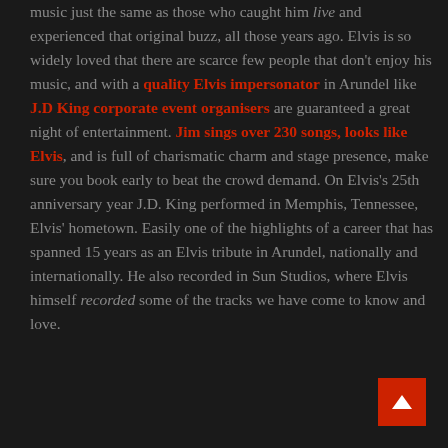music just the same as those who caught him live and experienced that original buzz, all those years ago. Elvis is so widely loved that there are scarce few people that don't enjoy his music, and with a quality Elvis impersonator in Arundel like J.D King corporate event organisers are guaranteed a great night of entertainment. Jim sings over 230 songs, looks like Elvis, and is full of charismatic charm and stage presence, make sure you book early to beat the crowd demand. On Elvis's 25th anniversary year J.D. King performed in Memphis, Tennessee, Elvis' hometown. Easily one of the highlights of a career that has spanned 15 years as an Elvis tribute in Arundel, nationally and internationally. He also recorded in Sun Studios, where Elvis himself recorded some of the tracks we have come to know and love.